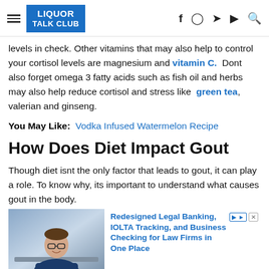LIQUOR TALK CLUB
levels in check. Other vitamins that may also help to control your cortisol levels are magnesium and vitamin C. Dont also forget omega 3 fatty acids such as fish oil and herbs may also help reduce cortisol and stress like green tea, valerian and ginseng.
You May Like: Vodka Infused Watermelon Recipe
How Does Diet Impact Gout
Though diet isnt the only factor that leads to gout, it can play a role. To know why, its important to understand what causes gout in the body.
[Figure (photo): Advertisement showing a man in a dark blue shirt smiling at a desk, promoting Redesigned Legal Banking, IOLTA Tracking, and Business Checking for Law Firms in One Place]